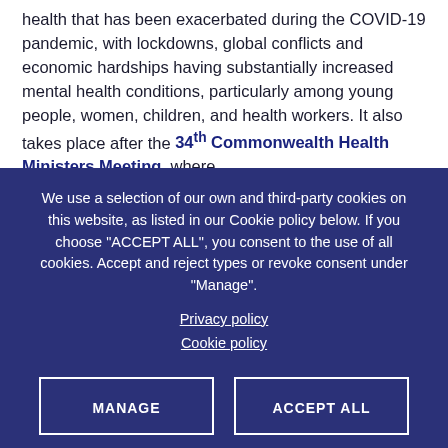health that has been exacerbated during the COVID-19 pandemic, with lockdowns, global conflicts and economic hardships having substantially increased mental health conditions, particularly among young people, women, children, and health workers. It also takes place after the 34th Commonwealth Health Ministers Meeting, where
We use a selection of our own and third-party cookies on this website, as listed in our Cookie policy below. If you choose "ACCEPT ALL", you consent to the use of all cookies. Accept and reject types or revoke consent under "Manage".
Privacy policy
Cookie policy
MANAGE
ACCEPT ALL